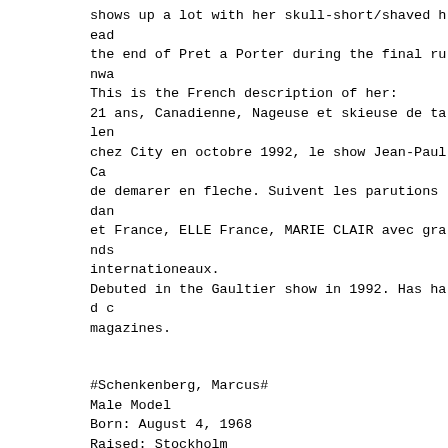shows up a lot with her skull-short/shaved head the end of Pret a Porter during the final runwa This is the French description of her:
21 ans, Canadienne, Nageuse et skieuse de talen chez City en octobre 1992, le show Jean-Paul Ca de demarer en fleche. Suivent les parutions dan et France, ELLE France, MARIE CLAIR avec grands internationeaux.
Debuted in the Gaultier show in 1992. Has had c magazines.
#Schenkenberg, Marcus#
Male Model
Born: August 4, 1968
Raised: Stockholm
Second calendar arrives in stores this Fall (94 Klein jeans ad campaign. (NUDE!) Takes in over year. The male Supermodel. Appeared on MTV and molested by VJ Kennedy for America's entertainm him and basically groped and fondled him as muc